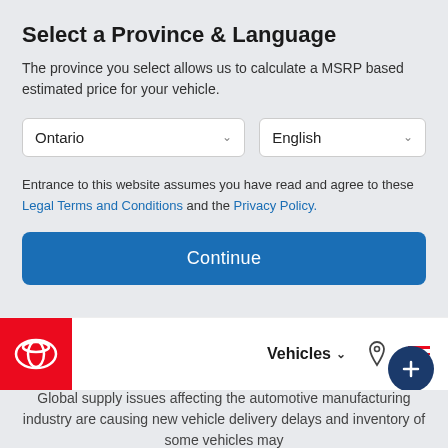Select a Province & Language
The province you select allows us to calculate a MSRP based estimated price for your vehicle.
Entrance to this website assumes you have read and agree to these Legal Terms and Conditions and the Privacy Policy.
[Figure (screenshot): Continue button - blue rounded rectangle]
[Figure (logo): Toyota logo in red square, navigation bar with Vehicles dropdown, location pin icon, hamburger menu]
Global supply issues affecting the automotive manufacturing industry are causing new vehicle delivery delays and inventory of some vehicles may